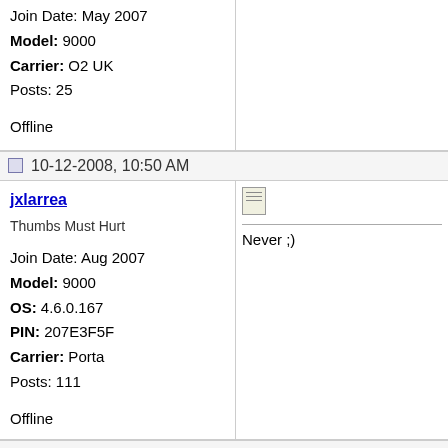Join Date: May 2007
Model: 9000
Carrier: O2 UK
Posts: 25

Offline
10-12-2008, 10:50 AM
jxlarrea
Thumbs Must Hurt

Join Date: Aug 2007
Model: 9000
OS: 4.6.0.167
PIN: 207E3F5F
Carrier: Porta
Posts: 111

Offline
Never ;)
10-12-2008, 01:01 PM
DeadRinga
Thumbs Must Hurt

Niiice. W